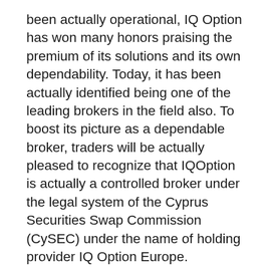been actually operational, IQ Option has won many honors praising the premium of its solutions and its own dependability. Today, it has been actually identified being one of the leading brokers in the field also. To boost its picture as a dependable broker, traders will be actually pleased to recognize that IQOption is actually a controlled broker under the legal system of the Cyprus Securities Swap Commission (CySEC) under the name of holding provider IQ Option Europe.
As a controlled broker under CySEC, this implies that IQ Option is likewise a MiFID compliant broker. To put it simply, IQOption is actually permitted to supply its own companies to clients within the EEA. An additional perk for customers of being